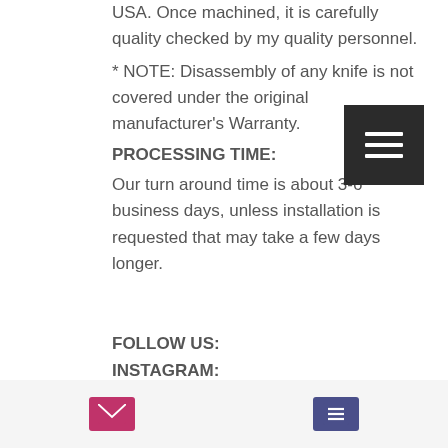USA. Once machined, it is carefully quality checked by my quality personnel.
* NOTE: Disassembly of any knife is not covered under the original manufacturer's Warranty.
PROCESSING TIME:
Our turn around time is about 3-6 business days, unless installation is requested that may take a few days longer.
FOLLOW US:
INSTAGRAM:
https://instagram.com/metonboss
FACEBOOK:
https://www.facebook.com/meton...